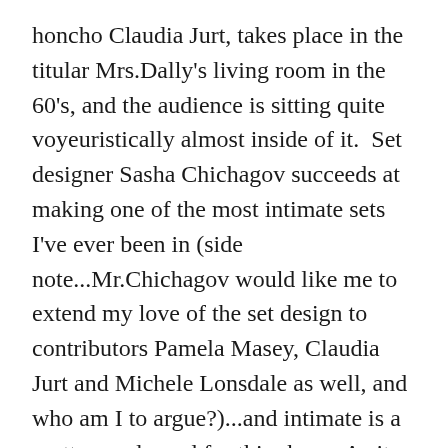honcho Claudia Jurt, takes place in the titular Mrs.Dally's living room in the 60's, and the audience is sitting quite voyeuristically almost inside of it.  Set designer Sasha Chichagov succeeds at making one of the most intimate sets I've ever been in (side note...Mr.Chichagov would like me to extend my love of the set design to contributors Pamela Masey, Claudia Jurt and Michele Lonsdale as well, and who am I to argue?)...and intimate is a pretty good word for this show.  As it begins, and the lights go down, and we start to hear some noises from behind the sofa.  Some, shall we say, intimate noises, nudge nudge, wink wink.  And the play...